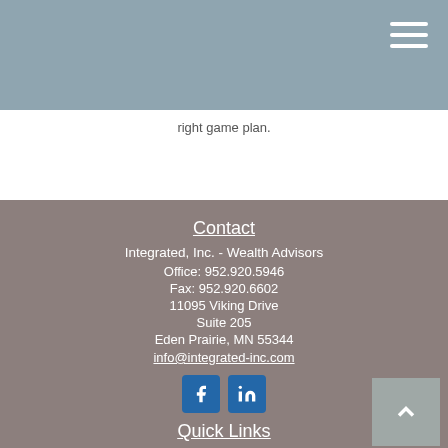right game plan.
Contact
Integrated, Inc. - Wealth Advisors
Office: 952.920.5946
Fax: 952.920.6602
11095 Viking Drive
Suite 205
Eden Prairie, MN 55344
info@integrated-inc.com
[Figure (logo): Facebook and LinkedIn social media icon buttons]
Quick Links
Back to top button